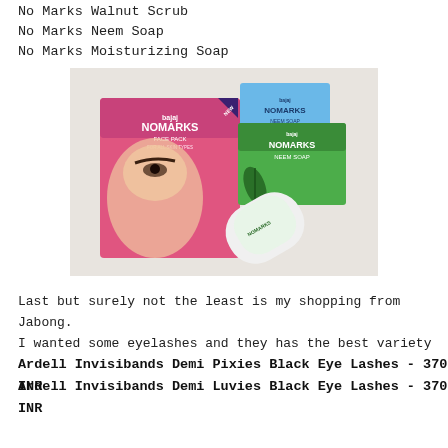No Marks Walnut Scrub
No Marks Neem Soap
No Marks Moisturizing Soap
[Figure (photo): Photo of Bajaj NoMarks products including a Face Pack box with a woman's face on the pink packaging, a green NoMarks Neem Soap bar, a blue NoMarks soap bar, and a white NoMarks cream/lotion tube, arranged on a white fabric background.]
Last but surely not the least is my shopping from Jabong. I wanted some eyelashes and they has the best variety
Ardell Invisibands Demi Pixies Black Eye Lashes - 370 INR
Ardell Invisibands Demi Luvies Black Eye Lashes - 370 INR